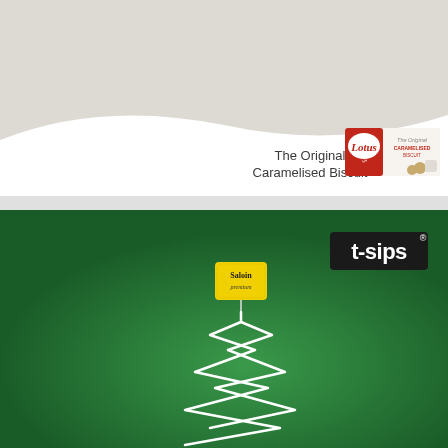[Figure (illustration): Lotus Caramelised Biscuit advertisement. Light gray/beige textured background with a curved white wave at the bottom. Text reads 'The Original Caramelised Biscuit' in dark gray. A product pack of Lotus Original Caramelised Biscuit is shown on the right side in red and white packaging.]
[Figure (illustration): t-sips tea brand advertisement. Dark green background with a yellow tea bag tag labeled 'Solan' floating above a white string shaped like a Christmas tree outline. The t-sips logo in white text on black rectangle is in the upper right corner.]